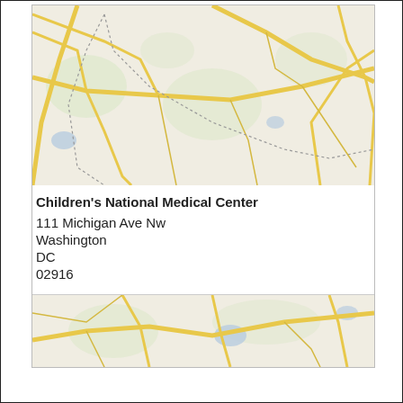[Figure (map): Street map showing area around Children's National Medical Center in Washington DC, with yellow roads on light beige background and dotted boundary lines]
Children's National Medical Center
111 Michigan Ave Nw
Washington
DC
02916
[Figure (map): Street map showing another area with yellow roads on light beige background, partially visible at bottom of page]